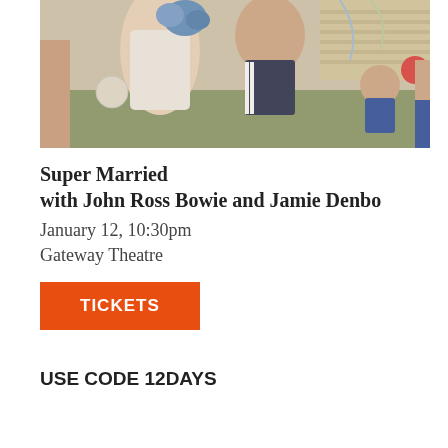[Figure (photo): Outdoor scene showing people in swimwear at what appears to be a backyard party or gathering. A woman in a white lace swimsuit holds blue flowers, a man in dark swim trunks stands next to her, and children are visible in the background near decorations.]
Super Married with John Ross Bowie and Jamie Denbo
January 12, 10:30pm
Gateway Theatre
TICKETS
USE CODE 12DAYS